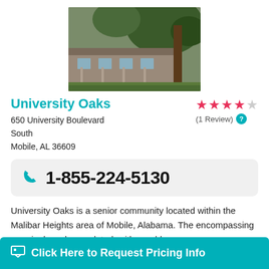[Figure (photo): Exterior photo of University Oaks senior community building with trees]
University Oaks
650 University Boulevard
South
Mobile, AL 36609
[Figure (other): 3.5 out of 5 stars rating with (1 Review) label]
1-855-224-5130
University Oaks is a senior community located within the Malibar Heights area of Mobile, Alabama. The encompassing area is densely populated, with roughly 2... a p...
Click Here to Request Pricing Info